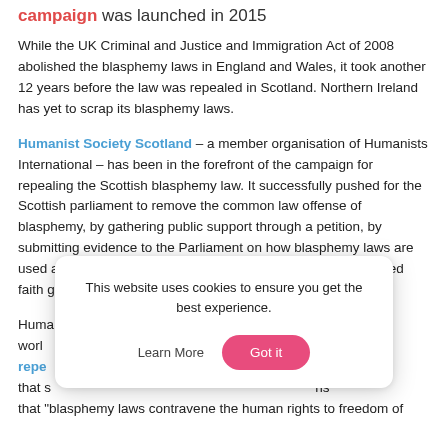campaign was launched in 2015
While the UK Criminal and Justice and Immigration Act of 2008 abolished the blasphemy laws in England and Wales, it took another 12 years before the law was repealed in Scotland. Northern Ireland has yet to scrap its blasphemy laws.
Humanist Society Scotland – a member organisation of Humanists International – has been in the forefront of the campaign for repealing the Scottish blasphemy law. It successfully pushed for the Scottish parliament to remove the common law offense of blasphemy, by gathering public support through a petition, by submitting evidence to the Parliament on how blasphemy laws are used around the world to persecute Humanists and marginalized faith groups, and by arranging protests.
Huma... world... repe... argued that s... ns that "blasphemy laws contravene the human rights to freedom of
This website uses cookies to ensure you get the best experience. Learn More Got it